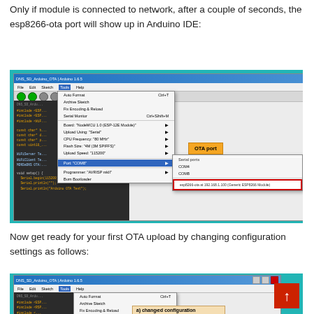Only if module is connected to network, after a couple of seconds, the esp8266-ota port will show up in Arduino IDE:
[Figure (screenshot): Arduino IDE 1.6.5 screenshot showing Tools menu open with Port submenu showing esp8266-ota at 192.168.1.100 (Generic ESP8266 Module) highlighted, with an OTA port callout label]
Now get ready for your first OTA upload by changing configuration settings as follows:
[Figure (screenshot): Arduino IDE 1.6.5 screenshot showing Tools menu open with configuration settings, partially visible, with an up-arrow navigation button and a callout label 'a) changed configuration']